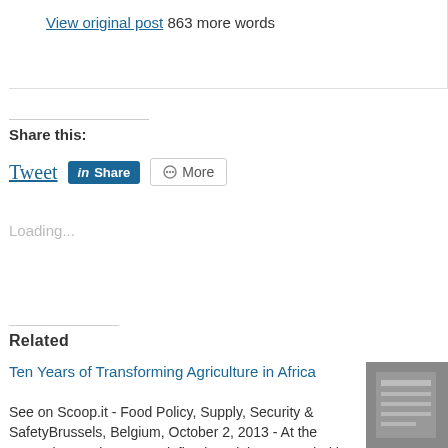View original post 863 more words
Share this:
Tweet  Share  More
Loading...
Related
Ten Years of Transforming Agriculture in Africa
See on Scoop.it - Food Policy, Supply, Security & SafetyBrussels, Belgium, October 2, 2013 - At the Brussels Development Briefing in Belgium, attended by over 150
[Figure (photo): Partial image of what appears to be a document or poster about water, partially visible on the right side]